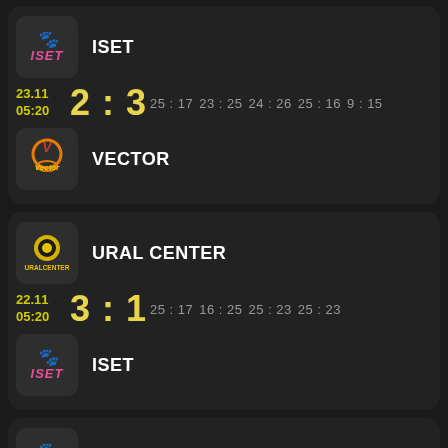ISET
23.11 05:20  2 : 3  25:17  23:25  24:26  25:16  9:15
VECTOR
URAL CENTER
22.11 05:20  3 : 1  25:17  16:25  25:23  25:23
ISET
ISET
21.11  3 : 2  25:17  24:26  19:25  25:23  15:9